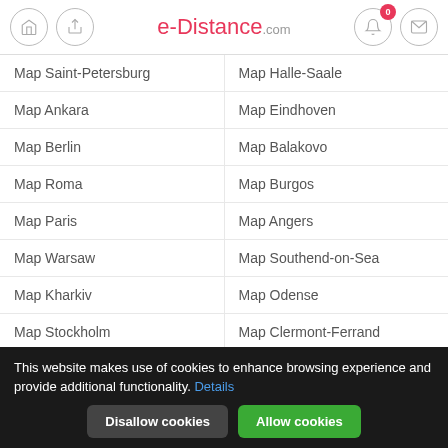e-Distance.com
Map Saint-Petersburg
Map Halle-Saale
Map Ankara
Map Eindhoven
Map Berlin
Map Balakovo
Map Roma
Map Burgos
Map Paris
Map Angers
Map Warsaw
Map Southend-on-Sea
Map Kharkiv
Map Odense
Map Stockholm
Map Clermont-Ferrand
Map Gaziantep
Map Heilbronn
This website makes use of cookies to enhance browsing experience and provide additional functionality. Details
Disallow cookies  Allow cookies